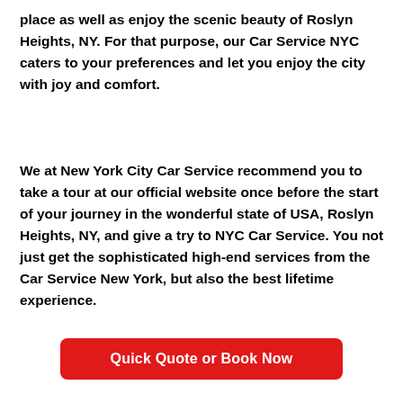place as well as enjoy the scenic beauty of Roslyn Heights, NY. For that purpose, our Car Service NYC caters to your preferences and let you enjoy the city with joy and comfort.
We at New York City Car Service recommend you to take a tour at our official website once before the start of your journey in the wonderful state of USA, Roslyn Heights, NY, and give a try to NYC Car Service. You not just get the sophisticated high-end services from the Car Service New York, but also the best lifetime experience.
Quick Quote or Book Now